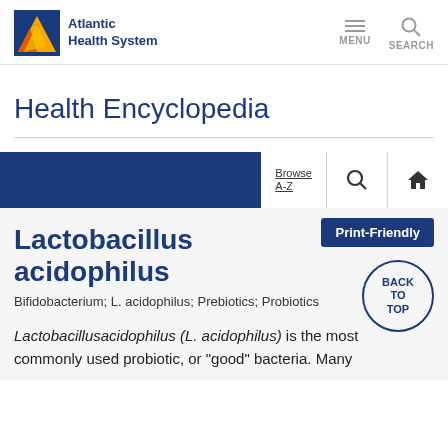Atlantic Health System — MENU SEARCH
Health Encyclopedia
Browse A-Z
Print-Friendly
Lactobacillus acidophilus
Bifidobacterium; L. acidophilus; Prebiotics; Probiotics
Lactobacillus acidophilus (L. acidophilus) is the most commonly used probiotic, or "good" bacteria. Many